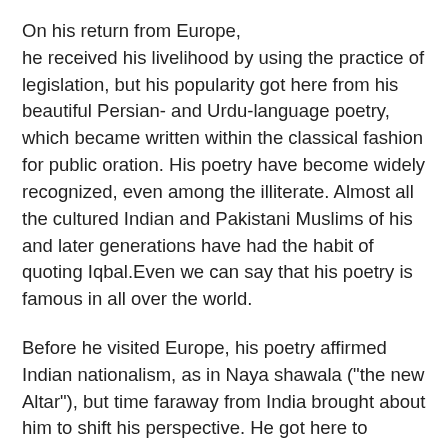On his return from Europe, he received his livelihood by using the practice of legislation, but his popularity got here from his beautiful Persian- and Urdu-language poetry, which became written within the classical fashion for public oration. His poetry have become widely recognized, even among the illiterate. Almost all the cultured Indian and Pakistani Muslims of his and later generations have had the habit of quoting Iqbal.Even we can say that his poetry is famous in all over the world.
Before he visited Europe, his poetry affirmed Indian nationalism, as in Naya shawala ("the new Altar"), but time faraway from India brought about him to shift his perspective. He got here to criticize nationalism for a twofold motive: in Europe it had brought about destructive racism and imperialism, and in India it was now not founded on an adequate degree of common cause. In a speech brought at Aligarh in 1910, beneath the title